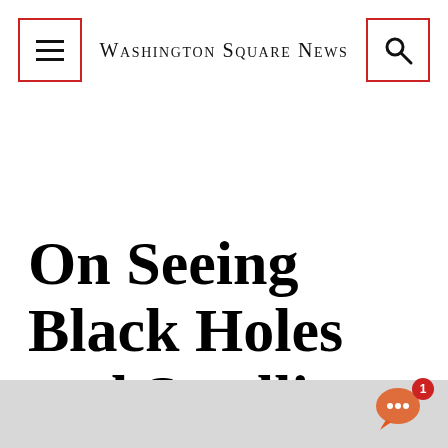Washington Square News
On Seeing Black Holes and Smelling Clouds